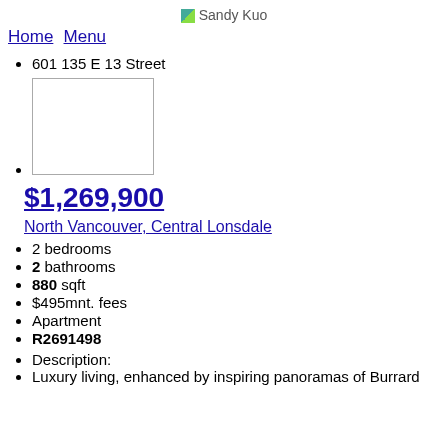Sandy Kuo
Home  Menu
601 135 E 13 Street
[Figure (photo): Property image placeholder (white rectangle with border)]
$1,269,900
North Vancouver, Central Lonsdale
2 bedrooms
2 bathrooms
880 sqft
$495mnt. fees
Apartment
R2691498
Description:
Luxury living, enhanced by inspiring panoramas of Burrard Inlet and the Vancouver skyline, this exquisite...